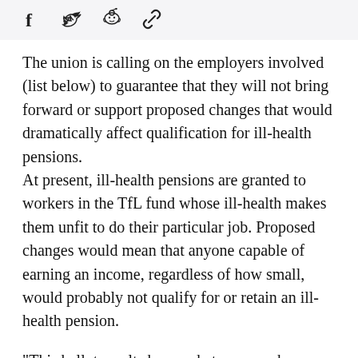[Figure (other): Social media sharing icons: Facebook (f), Twitter (bird), Reddit (alien), and a link/chain icon]
The union is calling on the employers involved (list below) to guarantee that they will not bring forward or support proposed changes that would dramatically affect qualification for ill-health pensions. At present, ill-health pensions are granted to workers in the TfL fund whose ill-health makes them unfit to do their particular job. Proposed changes would mean that anyone capable of earning an income, regardless of how small, would probably not qualify for or retain an ill-health pension.
"This ballot result shows what our members think of a plan that would deprive most people who leave work through ill-health of their pensions," RMT general